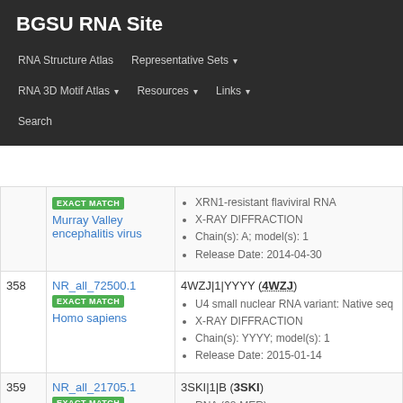BGSU RNA Site
RNA Structure Atlas | Representative Sets ▾ | RNA 3D Motif Atlas ▾ | Resources ▾ | Links ▾ | Search
| # | Representative | Members |
| --- | --- | --- |
|  | NR_all_72500.1 EXACT MATCH Murray Valley encephalitis virus | XRN1-resistant flaviviral RNA • X-RAY DIFFRACTION • Chain(s): A; model(s): 1 • Release Date: 2014-04-30 |
| 358 | NR_all_72500.1 EXACT MATCH Homo sapiens | 4WZJ|1|YYYY (4WZJ) • U4 small nuclear RNA variant: Native seq • X-RAY DIFFRACTION • Chain(s): YYYY; model(s): 1 • Release Date: 2015-01-14 |
| 359 | NR_all_21705.1 EXACT MATCH | 3SKI|1|B (3SKI) • RNA (68-MER) • X-RAY DIFFRACTION • Chain(s): B; model(s): 1 • Release Date: 2014-03-17 |